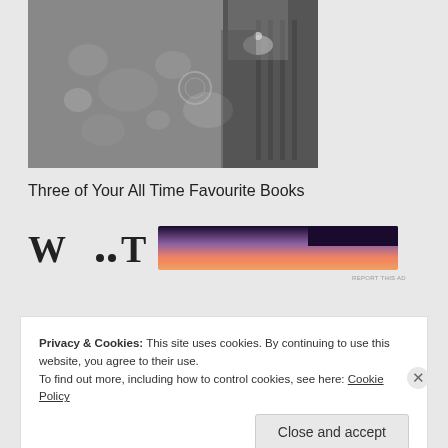[Figure (illustration): Black and white illustration showing scattered objects including skulls and mechanical/clock-like items, with a hand holding something small in the upper right corner]
Three of Your All Time Favourite Books
[Figure (logo): Wattpad logo - stylized W symbol followed by text]
[Figure (other): Advertisement banner with orange/pink gradient and dark top portion. 'REPORT THIS AD' text visible.]
Privacy & Cookies: This site uses cookies. By continuing to use this website, you agree to their use.
To find out more, including how to control cookies, see here: Cookie Policy
Close and accept